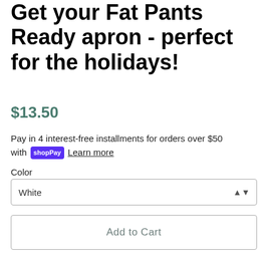Get your Fat Pants Ready apron - perfect for the holidays!
$13.50
Pay in 4 interest-free installments for orders over $50 with shop Pay Learn more
Color
White
Add to Cart